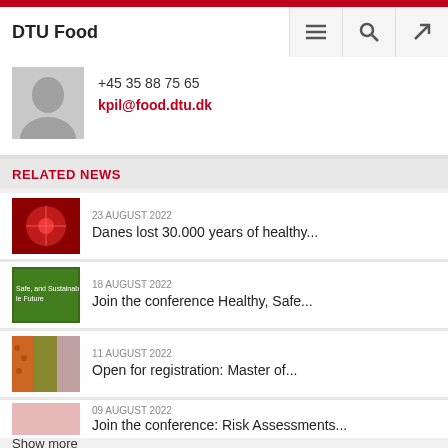DTU Food
+45 35 88 75 65
kpil@food.dtu.dk
RELATED NEWS
23 AUGUST 2022
Danes lost 30.000 years of healthy...
18 AUGUST 2022
Join the conference Healthy, Safe...
11 AUGUST 2022
Open for registration: Master of...
09 AUGUST 2022
Join the conference: Risk Assessments...
Show more